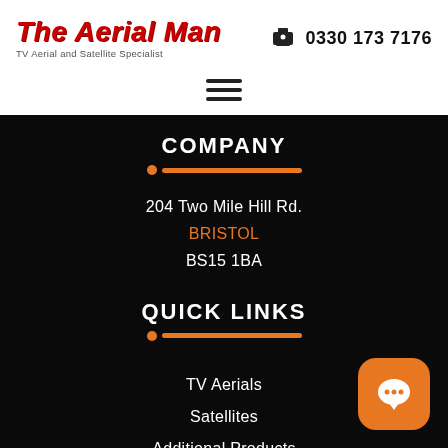The Aerial Man — TV Aerial and Satellite Specialist | 0330 173 7176
COMPANY
204 Two Mile Hill Rd.
BRISTOL
BS15 1BA
QUICK LINKS
TV Aerials
Satellites
Additional Products